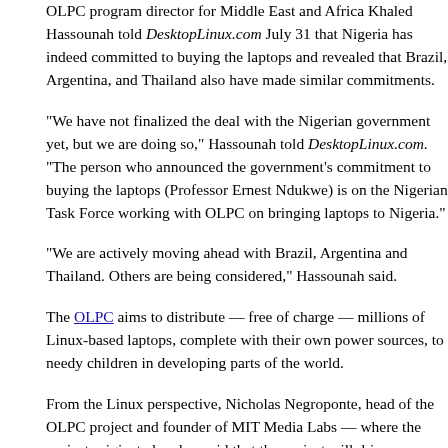OLPC program director for Middle East and Africa Khaled Hassounah told DesktopLinux.com July 31 that Nigeria has indeed committed to buying the laptops and revealed that Brazil, Argentina, and Thailand also have made similar commitments.
"We have not finalized the deal with the Nigerian government yet, but we are doing so," Hassounah told DesktopLinux.com. "The person who announced the government's commitment to buying the laptops (Professor Ernest Ndukwe) is on the Nigerian Task Force working with OLPC on bringing laptops to Nigeria."
"We are actively moving ahead with Brazil, Argentina and Thailand. Others are being considered," Hassounah said.
The OLPC aims to distribute — free of charge — millions of Linux-based laptops, complete with their own power sources, to needy children in developing parts of the world.
From the Linux perspective, Nicholas Negroponte, head of the OLPC project and founder of MIT Media Labs — where the project originated — has said that the project will drive mass adoption of Linux, making the OS as popular on the desktop as it is on servers.
To date, AMD, eBay, Google, Nortel, Red Hat, and a number of other companies have signed on to help support the project.